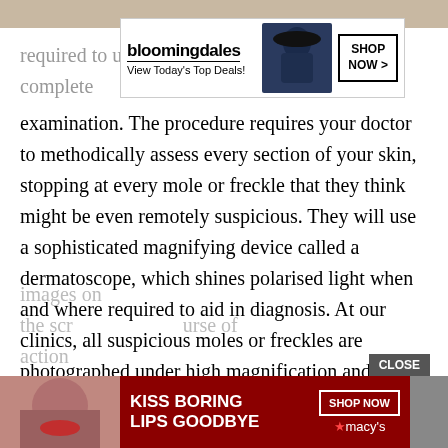[Figure (screenshot): Bloomingdale's advertisement banner with logo, 'View Today's Top Deals!' tagline, woman in blue hat image, and 'SHOP NOW >' button]
When you will be required to undress to your undergarments for a complete examination. The procedure requires your doctor to methodically assess every section of your skin, stopping at every mole or freckle that they think might be even remotely suspicious. They will use a sophisticated magnifying device called a dermatoscope, which shines polarised light when and where required to aid in diagnosis. At our clinics, all suspicious moles or freckles are photographed under high magnification and immediately transferred to the doctors computer for further analysis.
Youll be able to get dressed once your entire body has been screened as part of the skin cancer scan. Soon after, your doctor will discuss and show you the magnified images on the screen... course of action
[Figure (screenshot): Macy's advertisement with 'KISS BORING LIPS GOODBYE' text, woman's face with red lips, 'SHOP NOW' button, and Macy's star logo]